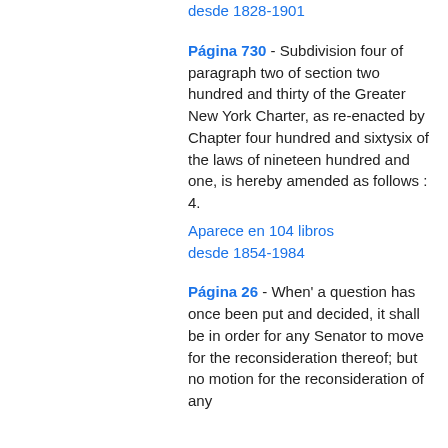desde 1828-1901
Página 730 - Subdivision four of paragraph two of section two hundred and thirty of the Greater New York Charter, as re-enacted by Chapter four hundred and sixtysix of the laws of nineteen hundred and one, is hereby amended as follows : 4.
Aparece en 104 libros desde 1854-1984
Página 26 - When' a question has once been put and decided, it shall be in order for any Senator to move for the reconsideration thereof; but no motion for the reconsideration of any